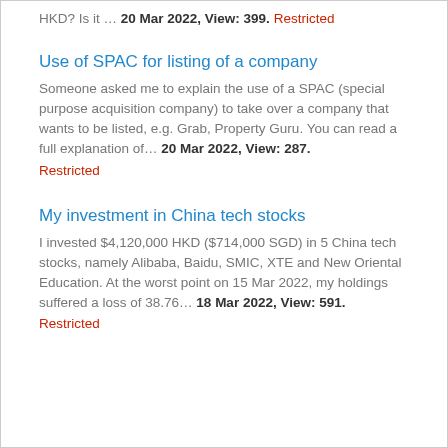HKD? Is it … 20 Mar 2022, View: 399. Restricted
Use of SPAC for listing of a company
Someone asked me to explain the use of a SPAC (special purpose acquisition company) to take over a company that wants to be listed, e.g. Grab, Property Guru. You can read a full explanation of… 20 Mar 2022, View: 287. Restricted
My investment in China tech stocks
I invested $4,120,000 HKD ($714,000 SGD) in 5 China tech stocks, namely Alibaba, Baidu, SMIC, XTE and New Oriental Education. At the worst point on 15 Mar 2022, my holdings suffered a loss of 38.76… 18 Mar 2022, View: 591. Restricted